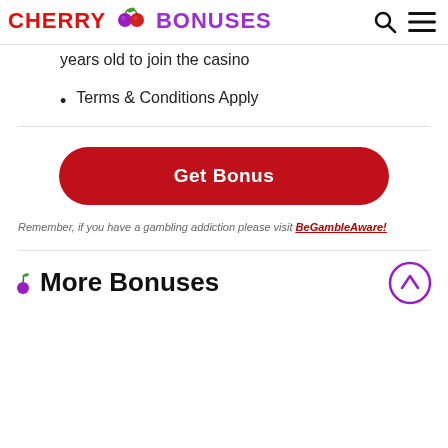CHERRY BONUSES
years old to join the casino
Terms & Conditions Apply
[Figure (other): Red 'Get Bonus' button with rounded corners]
Remember, if you have a gambling addiction please visit BeGambleAware!
More Bonuses